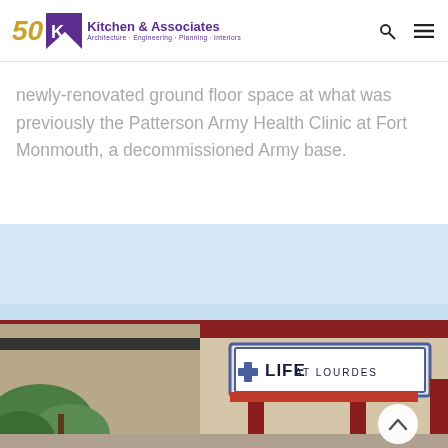[Figure (logo): Kitchen & Associates logo with 50th anniversary mark, purple K&A icon, company name and tagline 'Architecture · Engineering · Planning · Interiors']
newly-renovated ground floor space at what was previously the Patterson Army Health Clinic at Fort Monmouth, a decommissioned Army base.
[Figure (photo): Exterior photo of a building entrance with a 'Life at Lourdes' sign, red pillars, light blue sky, and green trees in the foreground.]